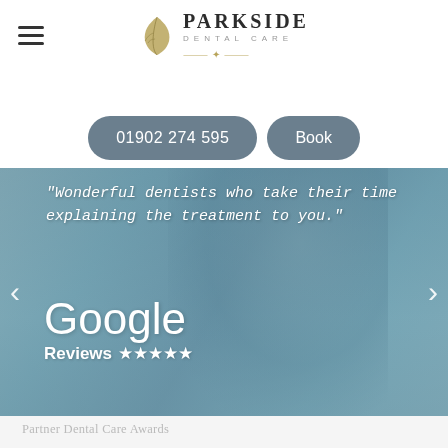[Figure (logo): Parkside Dental Care logo with leaf icon and brand name]
01902 274 595
Book
[Figure (photo): Blurred dental clinic hero image with patient smiling, showing testimonial quote and Google Reviews 5 stars overlay]
Wonderful dentists who take their time explaining the treatment to you.
Google Reviews ★★★★★
Partner Dental Care Awards